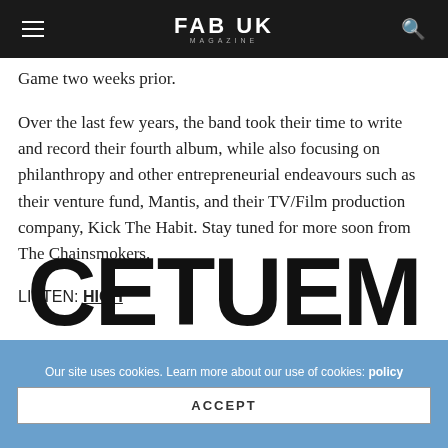FAB UK MAGAZINE
Game two weeks prior.
Over the last few years, the band took their time to write and record their fourth album, while also focusing on philanthropy and other entrepreneurial endeavours such as their venture fund, Mantis, and their TV/Film production company, Kick The Habit. Stay tuned for more soon from The Chainsmokers.
LISTEN: HIGH
CETUEM
Our site uses cookies. Learn more about our use of cookies: policy
ACCEPT